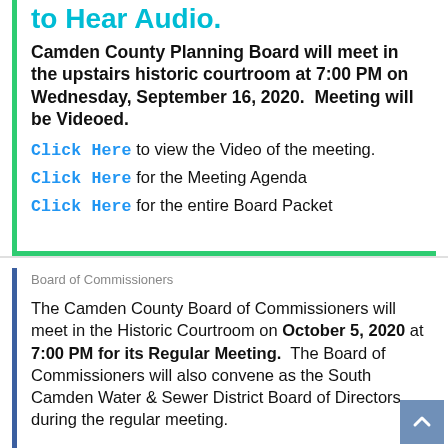to Hear Audio.
Camden County Planning Board will meet in the upstairs historic courtroom at 7:00 PM on Wednesday, September 16, 2020. Meeting will be Videoed.
Click Here to view the Video of the meeting.
Click Here for the Meeting Agenda
Click Here for the entire Board Packet
Board of Commissioners
The Camden County Board of Commissioners will meet in the Historic Courtroom on October 5, 2020 at 7:00 PM for its Regular Meeting. The Board of Commissioners will also convene as the South Camden Water & Sewer District Board of Directors during the regular meeting.
In that Governor Cooper's Executive Order 163 limits mass indoor gatherings to 25 people, Camden County